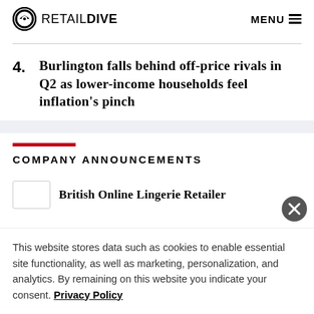RETAIL DIVE  MENU
4. Burlington falls behind off-price rivals in Q2 as lower-income households feel inflation's pinch
COMPANY ANNOUNCEMENTS
British Online Lingerie Retailer
This website stores data such as cookies to enable essential site functionality, as well as marketing, personalization, and analytics. By remaining on this website you indicate your consent. Privacy Policy